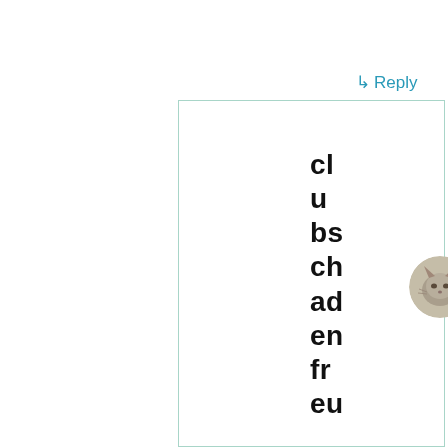↳ Reply
[Figure (other): A card/panel with a circular avatar photo of a cat and username text displayed vertically reading 'clubschadenfreu' broken into two-letter line segments]
cl
u
bs
ch
ad
en
fr
eu